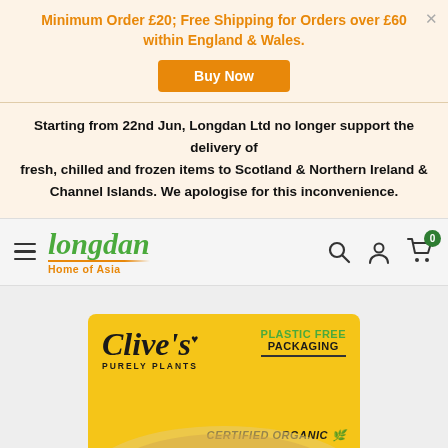Minimum Order £20; Free Shipping for Orders over £60 within England & Wales.
Buy Now
Starting from 22nd Jun, Longdan Ltd no longer support the delivery of fresh, chilled and frozen items to Scotland & Northern Ireland & Channel Islands. We apologise for this inconvenience.
[Figure (logo): Longdan Home of Asia logo with green italic text and orange underline]
[Figure (photo): Clive's Purely Plants product box on yellow background with Plastic Free Packaging and Certified Organic labels, showing a pizza]